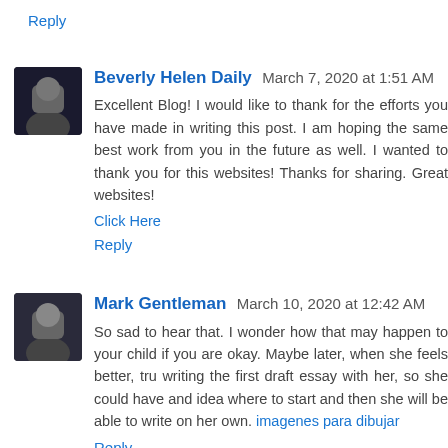Reply
Beverly Helen Daily  March 7, 2020 at 1:51 AM
Excellent Blog! I would like to thank for the efforts you have made in writing this post. I am hoping the same best work from you in the future as well. I wanted to thank you for this websites! Thanks for sharing. Great websites!
Click Here
Reply
Mark Gentleman  March 10, 2020 at 12:42 AM
So sad to hear that. I wonder how that may happen to your child if you are okay. Maybe later, when she feels better, tru writing the first draft essay with her, so she could have and idea where to start and then she will be able to write on her own. imagenes para dibujar
Reply